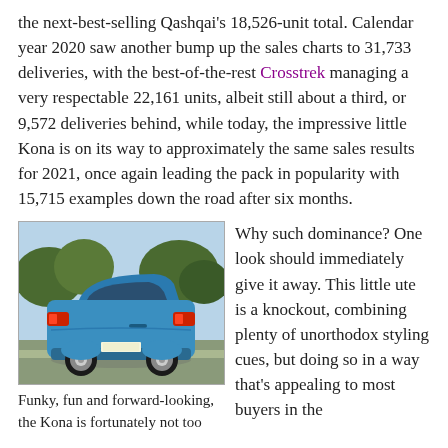the next-best-selling Qashqai's 18,526-unit total. Calendar year 2020 saw another bump up the sales charts to 31,733 deliveries, with the best-of-the-rest Crosstrek managing a very respectable 22,161 units, albeit still about a third, or 9,572 deliveries behind, while today, the impressive little Kona is on its way to approximately the same sales results for 2021, once again leading the pack in popularity with 15,715 examples down the road after six months.
[Figure (photo): Rear three-quarter view of a blue Hyundai Kona SUV parked outdoors with trees in the background.]
Funky, fun and forward-looking, the Kona is fortunately not too
Why such dominance? One look should immediately give it away. This little ute is a knockout, combining plenty of unorthodox styling cues, but doing so in a way that's appealing to most buyers in the